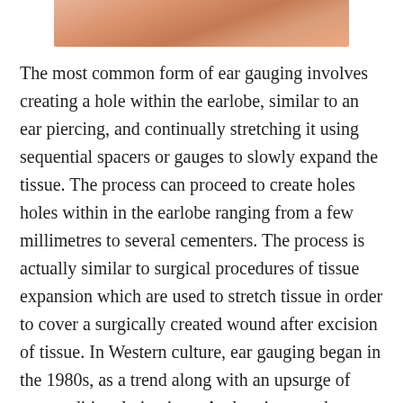[Figure (photo): Close-up photo of a human earlobe, showing skin tones in peach and tan colors, cropped at the top of the page.]
The most common form of ear gauging involves creating a hole within the earlobe, similar to an ear piercing, and continually stretching it using sequential spacers or gauges to slowly expand the tissue. The process can proceed to create holes holes within in the earlobe ranging from a few millimetres to several cementers. The process is actually similar to surgical procedures of tissue expansion which are used to stretch tissue in order to cover a surgically created wound after excision of tissue. In Western culture, ear gauging began in the 1980s, as a trend along with an upsurge of non-traditional piercings. At that time, such piercings were mostly associated with the “goth” and “punk” lifestyles. However, Since that time, ear